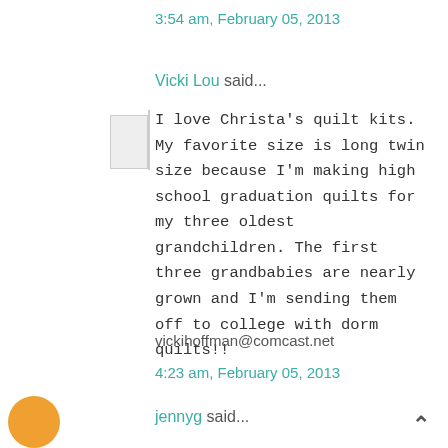3:54 am, February 05, 2013
Vicki Lou said...
I love Christa's quilt kits. My favorite size is long twin size because I'm making high school graduation quilts for my three oldest grandchildren. The first three grandbabies are nearly grown and I'm sending them off to college with dorm quilts!!
vickihoffman@comcast.net
4:23 am, February 05, 2013
jennyg said...